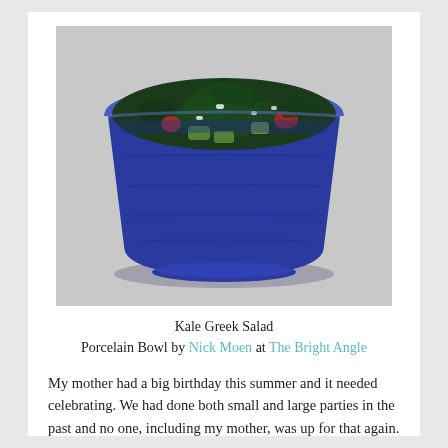[Figure (photo): A blue porcelain bowl filled with kale Greek salad including tomatoes, cucumbers, and feta cheese, on a gray background.]
Kale Greek Salad
Porcelain Bowl by Nick Moen at The Bright Angle
My mother had a big birthday this summer and it needed celebrating. We had done both small and large parties in the past and no one, including my mother, was up for that again. A short but special trip seemed like a good